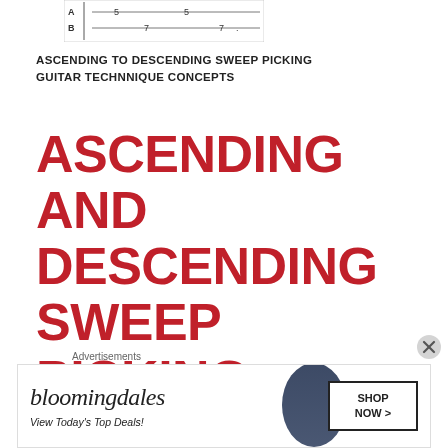[Figure (other): Guitar tablature snippet showing fret numbers on A and B strings, with numbers 5, 5, 7, 7 visible]
ASCENDING TO DESCENDING SWEEP PICKING GUITAR TECHNNIQUE CONCEPTS
ASCENDING AND DESCENDING SWEEP PICKING GUITAR TECHNIQUE
Advertisements
[Figure (other): Bloomingdale's advertisement banner with logo, tagline 'View Today's Top Deals!', model photo, and SHOP NOW button]